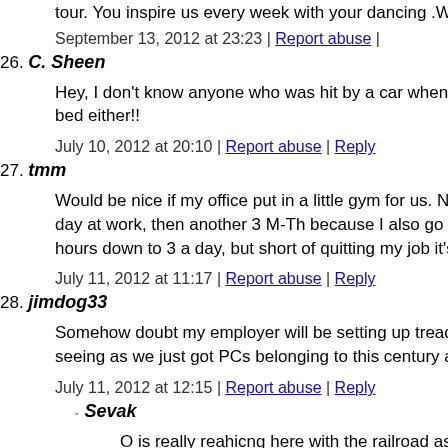tour. You inspire us every week with your dancing .We l
September 13, 2012 at 23:23 | Report abuse |
26. C. Sheen
Hey, I don't know anyone who was hit by a car when they were in bed either!!
July 10, 2012 at 20:10 | Report abuse | Reply
27. tmm
Would be nice if my office put in a little gym for us. No such luck. I sit all day at work, then another 3 M-Th because I also go to school. I've cut my hours down to 3 a day, but short of quitting my job it's impossib
July 11, 2012 at 11:17 | Report abuse | Reply
28. jimdog33
Somehow doubt my employer will be setting up treadmills for seeing as we just got PCs belonging to this century a couple m
July 11, 2012 at 12:15 | Report abuse | Reply
Sevak
O is really reahicng here with the railroad as a reason fo scandal of the Gilded Age was the Union Pacific bankru